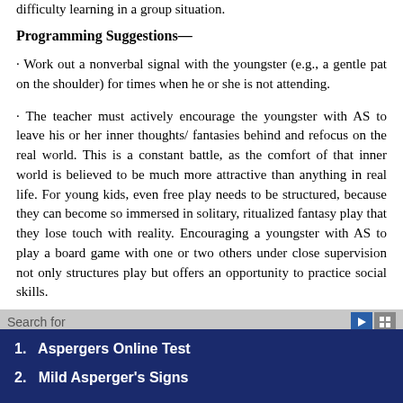difficulty learning in a group situation.
Programming Suggestions—
· Work out a nonverbal signal with the youngster (e.g., a gentle pat on the shoulder) for times when he or she is not attending.
· The teacher must actively encourage the youngster with AS to leave his or her inner thoughts/ fantasies behind and refocus on the real world. This is a constant battle, as the comfort of that inner world is believed to be much more attractive than anything in real life. For young kids, even free play needs to be structured, because they can become so immersed in solitary, ritualized fantasy play that they lose touch with reality. Encouraging a youngster with AS to play a board game with one or two others under close supervision not only structures play but offers an opportunity to practice social skills.
· Seat the youngster with AS at the front of the class and direct
Search for
1.  Aspergers Online Test
2.  Mild Asperger's Signs